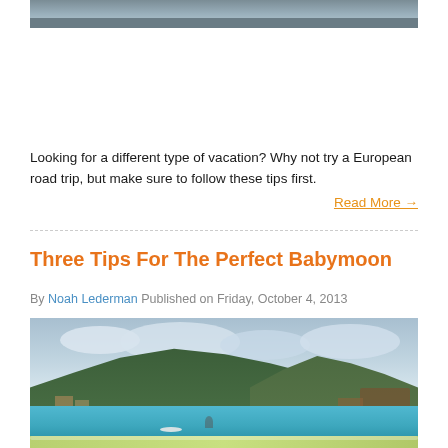[Figure (photo): Top portion of a photo showing a road or pier scene, partially cropped]
Looking for a different type of vacation? Why not try a European road trip, but make sure to follow these tips first.
Read More →
Three Tips For The Perfect Babymoon
By Noah Lederman Published on Friday, October 4, 2013
[Figure (photo): Beach scene with turquoise water, a wooded hillside/mountain in the background with buildings, cloudy sky, and a surfer in the foreground]